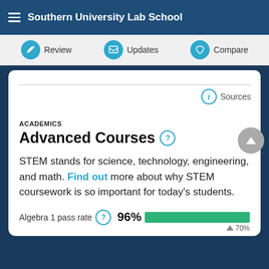Southern University Lab School
Review | Updates | Compare
Sources
ACADEMICS
Advanced Courses
STEM stands for science, technology, engineering, and math. Find out more about why STEM coursework is so important for today's students.
Algebra 1 pass rate  96%  70%